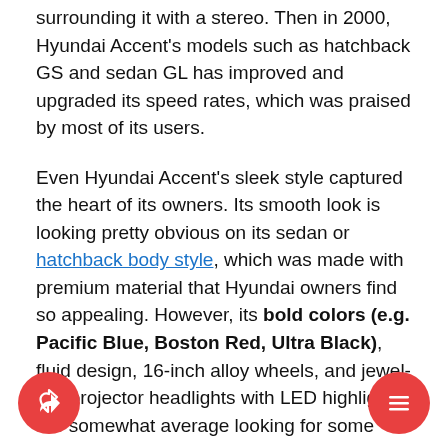surrounding it with a stereo. Then in 2000, Hyundai Accent's models such as hatchback GS and sedan GL has improved and upgraded its speed rates, which was praised by most of its users.
Even Hyundai Accent's sleek style captured the heart of its owners. Its smooth look is looking pretty obvious on its sedan or hatchback body style, which was made with premium material that Hyundai owners find so appealing. However, its bold colors (e.g. Pacific Blue, Boston Red, Ultra Black), fluid design, 16-inch alloy wheels, and jewel-like projector headlights with LED highlights are somewhat average looking for some owners.